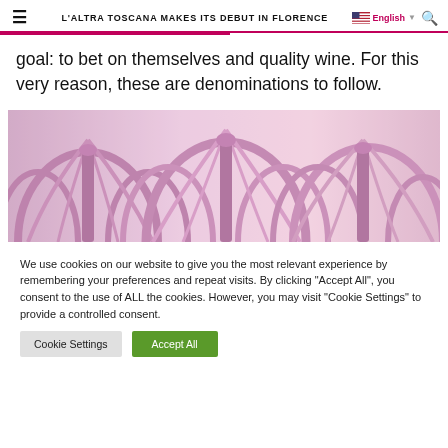L'ALTRA TOSCANA MAKES ITS DEBUT IN FLORENCE
goal: to bet on themselves and quality wine. For this very reason, these are denominations to follow.
[Figure (photo): Pink-tinted architectural photo showing Gothic vaulted ceiling arches and columns]
We use cookies on our website to give you the most relevant experience by remembering your preferences and repeat visits. By clicking "Accept All", you consent to the use of ALL the cookies. However, you may visit "Cookie Settings" to provide a controlled consent.